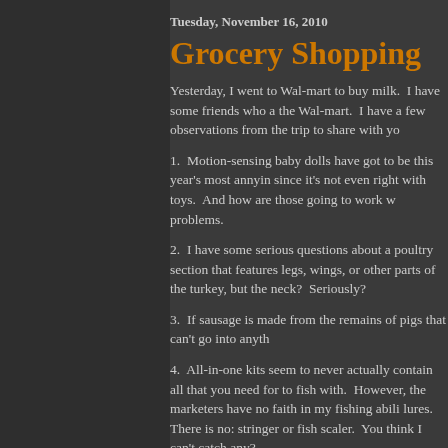Tuesday, November 16, 2010
Grocery Shopping
Yesterday, I went to Wal-mart to buy milk.  I have some friends who avoid the Wal-mart.  I have a few observations from the trip to share with you.
1.  Motion-sensing baby dolls have got to be this year's most annoying toy since it's not even right with toys.  And how are those going to work with problems.
2.  I have some serious questions about a poultry section that features legs, wings, or other parts of the turkey, but the neck?  Seriously?
3.  If sausage is made from the remains of pigs that can't go into anyth
4.  All-in-one kits seem to never actually contain all that you need for to fish with.  However, the marketers have no faith in my fishing abili lures.  There is no: stringer or fish scaler.  You think I can't catch any?
5.  I also recently acquired a hunting license, because I'd like to both processing a dear is not cheap, it is less than the cost of buying a comp stuff is on aisle 43 (or whatever number).  If I can't get a deer, then I c
6.  Wal-mart makes it extremely easy to load up a cart with stuff, and Provide them the support they need, and then expect them to be fast.